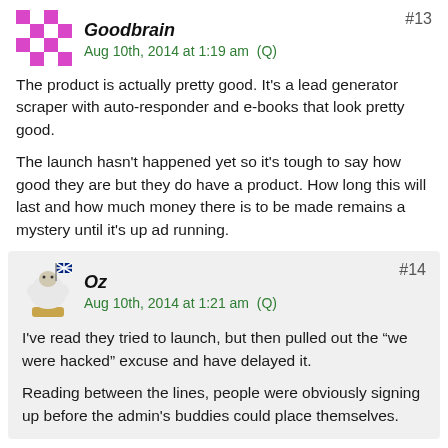Goodbrain
Aug 10th, 2014 at 1:19 am  (Q)
#13
The product is actually pretty good. It's a lead generator scraper with auto-responder and e-books that look pretty good.
The launch hasn't happened yet so it's tough to say how good they are but they do have a product. How long this will last and how much money there is to be made remains a mystery until it's up ad running.
Oz
Aug 10th, 2014 at 1:21 am  (Q)
#14
I've read they tried to launch, but then pulled out the “we were hacked” excuse and have delayed it.
Reading between the lines, people were obviously signing up before the admin's buddies could place themselves.